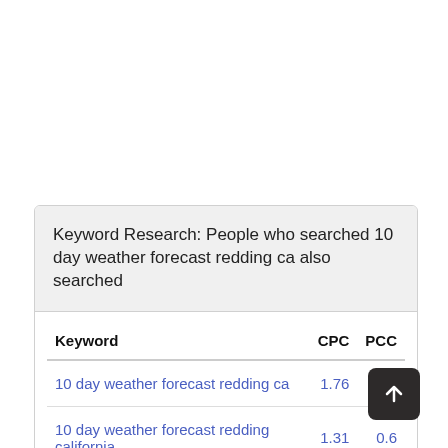Keyword Research: People who searched 10 day weather forecast redding ca also searched
| Keyword | CPC | PCC |
| --- | --- | --- |
| 10 day weather forecast redding ca | 1.76 | 0.7 |
| 10 day weather forecast redding california | 1.31 | 0.6 |
| 10 day weather forecast redding ca 96003 | 1.57 | 0.4 |
| weather in redding ca 10 day forecast | 0.55 | 0.3 |
| 10 day weather forecast in redding california | 1.66 | 0.8 |